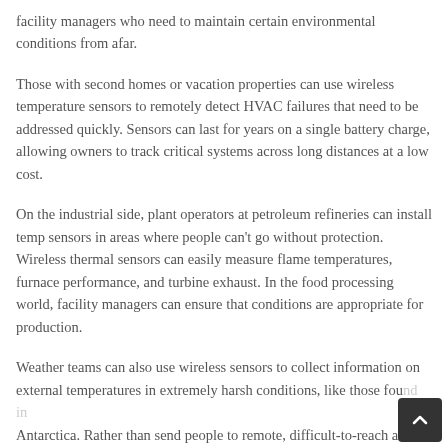facility managers who need to maintain certain environmental conditions from afar.
Those with second homes or vacation properties can use wireless temperature sensors to remotely detect HVAC failures that need to be addressed quickly. Sensors can last for years on a single battery charge, allowing owners to track critical systems across long distances at a low cost.
On the industrial side, plant operators at petroleum refineries can install temp sensors in areas where people can't go without protection. Wireless thermal sensors can easily measure flame temperatures, furnace performance, and turbine exhaust. In the food processing world, facility managers can ensure that conditions are appropriate for production.
Weather teams can also use wireless sensors to collect information on external temperatures in extremely harsh conditions, like those found in Antarctica. Rather than send people to remote, difficult-to-reach areas